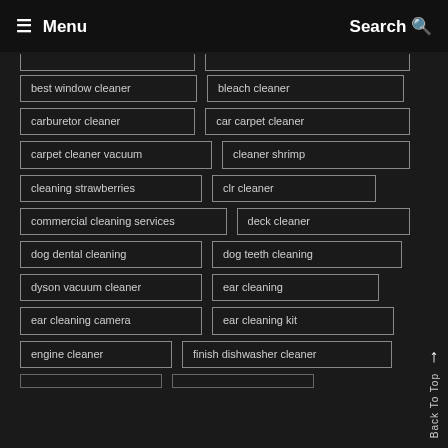☰ Menu  Search 🔍
best window cleaner
bleach cleaner
carburetor cleaner
car carpet cleaner
carpet cleaner vacuum
cleaner shrimp
cleaning strawberries
clr cleaner
commercial cleaning services
deck cleaner
dog dental cleaning
dog teeth cleaning
dyson vacuum cleaner
ear cleaning
ear cleaning camera
ear cleaning kit
engine cleaner
finish dishwasher cleaner